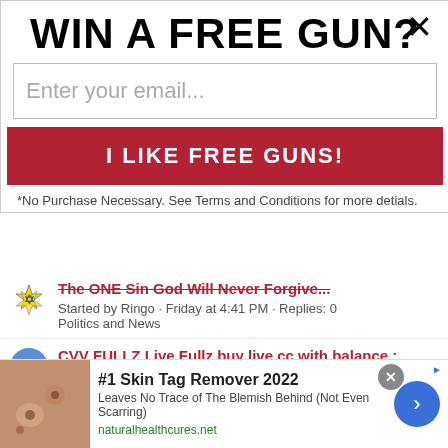WIN A FREE GUN?
Enter your email...
I LIKE FREE GUNS!
*No Purchase Necessary. See Terms and Conditions for more detials.
The ONE Sin God Will Never Forgive...
Started by Ringo · Friday at 4:41 PM · Replies: 0
Politics and News
CVV FULLZ Live Fullz buy live cc with balance : +1(859)813-5681
Started by johnnyradder · Aug 13, 2022 · Replies: 0
General Firearm Discussion
Mining company
Started by apextochina · Aug 13, 2022 · Replies: 0
[Figure (other): Advertisement banner: #1 Skin Tag Remover 2022 - Leaves No Trace of The Blemish Behind (Not Even Scarring) - naturalhealthcures.net]